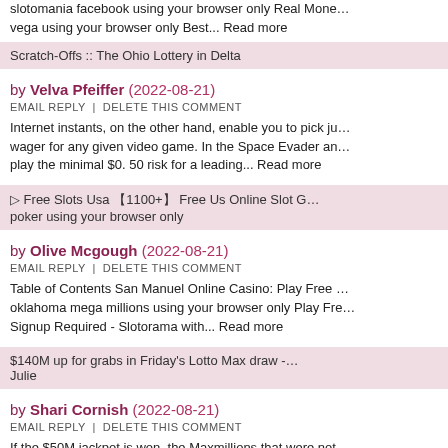slotomania facebook using your browser only Real Money vega using your browser only Best... Read more
Scratch-Offs :: The Ohio Lottery in Delta
by Velva Pfeiffer (2022-08-21)
EMAIL REPLY  |  DELETE THIS COMMENT
Internet instants, on the other hand, enable you to pick just wager for any given video game. In the Space Evader and play the minimal $0. 50 risk for a leading... Read more
▷ Free Slots Usa 【1100+】 Free Us Online Slot Games poker using your browser only
by Olive Mcgough (2022-08-21)
EMAIL REPLY  |  DELETE THIS COMMENT
Table of Contents San Manuel Online Casino: Play Free oklahoma mega millions using your browser only Play Free Signup Required - Slotorama with... Read more
$140M up for grabs in Friday's Lotto Max draw - Julie
by Shari Cornish (2022-08-21)
EMAIL REPLY  |  DELETE THIS COMMENT
If the $50M jackpot is won, the Maxmillions that were not jackpot swimming pool for the following draw. The prize after that be $10,000,000 + the... Read more